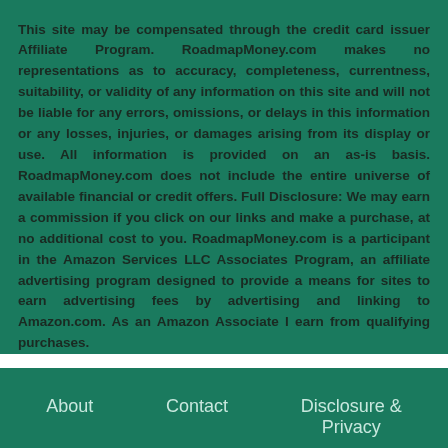This site may be compensated through the credit card issuer Affiliate Program. RoadmapMoney.com makes no representations as to accuracy, completeness, currentness, suitability, or validity of any information on this site and will not be liable for any errors, omissions, or delays in this information or any losses, injuries, or damages arising from its display or use. All information is provided on an as-is basis. RoadmapMoney.com does not include the entire universe of available financial or credit offers. Full Disclosure: We may earn a commission if you click on our links and make a purchase, at no additional cost to you. RoadmapMoney.com is a participant in the Amazon Services LLC Associates Program, an affiliate advertising program designed to provide a means for sites to earn advertising fees by advertising and linking to Amazon.com. As an Amazon Associate I earn from qualifying purchases.
About   Contact   Disclosure & Privacy